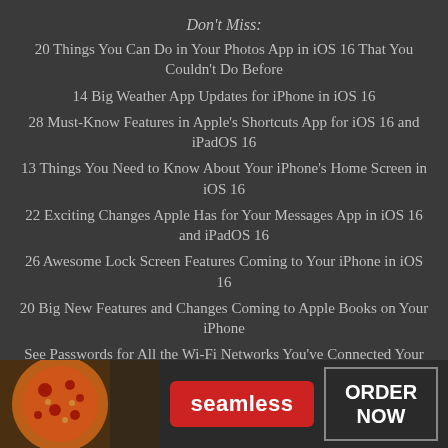Don't Miss:
20 Things You Can Do in Your Photos App in iOS 16 That You Couldn't Do Before
14 Big Weather App Updates for iPhone in iOS 16
28 Must-Know Features in Apple's Shortcuts App for iOS 16 and iPadOS 16
13 Things You Need to Know About Your iPhone's Home Screen in iOS 16
22 Exciting Changes Apple Has for Your Messages App in iOS 16 and iPadOS 16
26 Awesome Lock Screen Features Coming to Your iPhone in iOS 16
20 Big New Features and Changes Coming to Apple Books on Your iPhone
See Passwords for All the Wi-Fi Networks You've Connected Your iPhone To
[Figure (infographic): Advertisement banner for Seamless food delivery. Left side shows pizza image, center shows red Seamless button, right shows ORDER NOW button in bordered box.]